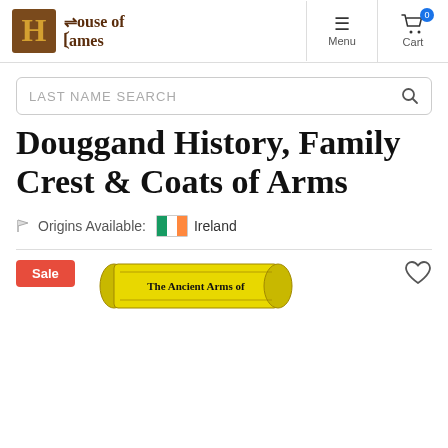House of Names — Menu | Cart
LAST NAME SEARCH
Douggand History, Family Crest & Coats of Arms
Origins Available: Ireland
[Figure (screenshot): Sale badge and scroll banner reading 'The Ancient Arms of' with heart icon]